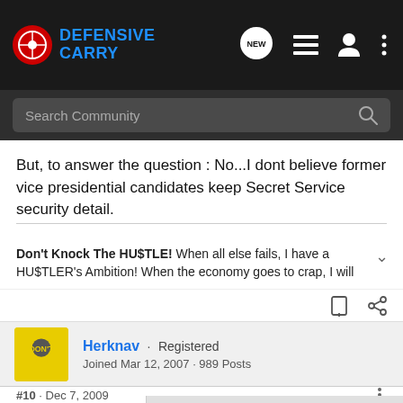[Figure (screenshot): Defensive Carry forum navigation bar with logo, search bar, and icons]
But, to answer the question : No...I dont believe former vice presidential candidates keep Secret Service security detail.
Don't Knock The HU$TLE! When all else fails, I have a HU$TLER's Ambition! When the economy goes to crap, I will
Herknav · Registered
Joined Mar 12, 2007 · 989 Posts
#10 · Dec 7, 2009
EMP--M
[Figure (advertisement): Ad banner reading: 3 SIBLINGS. NO RIVALRY.]